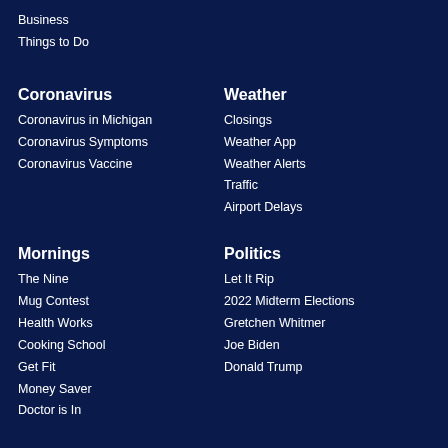Business
Things to Do
Coronavirus
Coronavirus in Michigan
Coronavirus Symptoms
Coronavirus Vaccine
Weather
Closings
Weather App
Weather Alerts
Traffic
Airport Delays
Mornings
The Nine
Mug Contest
Health Works
Cooking School
Get Fit
Money Saver
Doctor is In
Politics
Let It Rip
2022 Midterm Elections
Gretchen Whitmer
Joe Biden
Donald Trump